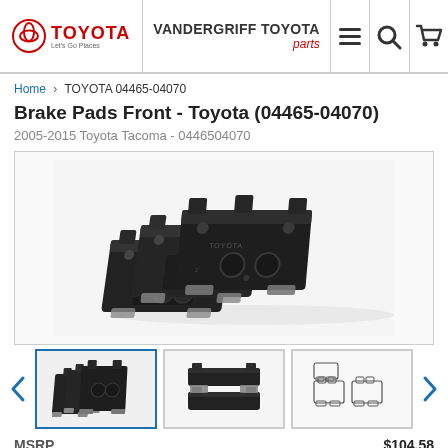TOYOTA | VANDERGRIFF TOYOTA parts
Home > TOYOTA 04465-04070
Brake Pads Front - Toyota (04465-04070)
2005-2015 Toyota Tacoma - 0446504070
[Figure (photo): Toyota OEM front brake pads set (4 pads) for 2005-2015 Tacoma - part 04465-04070, black metal backing plates with friction material]
[Figure (photo): Thumbnail 1: Side view of brake pads set]
[Figure (photo): Thumbnail 2: Top-down view of two brake pads]
[Figure (illustration): Thumbnail 3: Technical line drawing of brake pads set layout]
MSRP $104.58